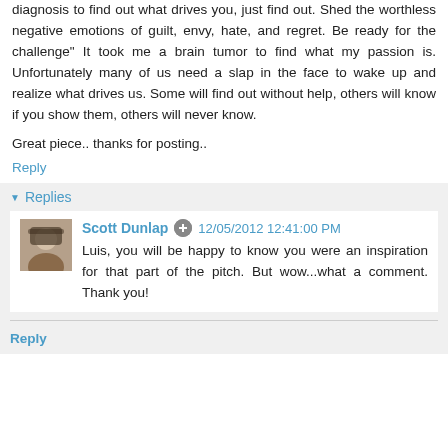diagnosis to find out what drives you, just find out. Shed the worthless negative emotions of guilt, envy, hate, and regret. Be ready for the challenge" It took me a brain tumor to find what my passion is. Unfortunately many of us need a slap in the face to wake up and realize what drives us. Some will find out without help, others will know if you show them, others will never know.
Great piece.. thanks for posting..
Reply
Replies
Scott Dunlap  12/05/2012 12:41:00 PM
Luis, you will be happy to know you were an inspiration for that part of the pitch. But wow...what a comment. Thank you!
Reply